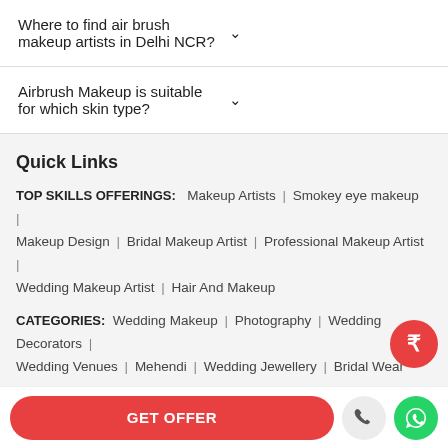Where to find air brush makeup artists in Delhi NCR?
Airbrush Makeup is suitable for which skin type?
Quick Links
TOP SKILLS OFFERINGS: Makeup Artists | Smokey eye makeup | Makeup Design | Bridal Makeup Artist | Professional Makeup Artist | Wedding Makeup Artist | Hair And Makeup
CATEGORIES: Wedding Makeup | Photography | Wedding Decorators | Wedding Venues | Mehendi | Wedding Jewellery | Bridal Wear
CATEGORY BY CITIES: Makeup Artist in Mumbai | Makeup Artist in Delhi | Makeup Artist in Gurgaon | Makeup Artist in Noida | Makeup Artist in ... | Makeup Artist in Bangalore | Makeup Artist in Hyderabad |